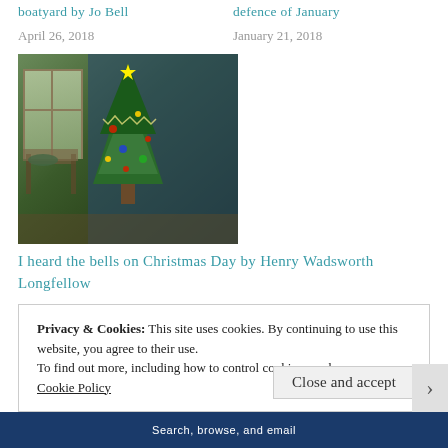boatyard by Jo Bell
April 26, 2018
defence of January
January 21, 2018
[Figure (photo): Indoor scene with a decorated Christmas tree near a window, with wooden furniture visible in a warm-toned room.]
I heard the bells on Christmas Day by Henry Wadsworth Longfellow
December 21, 2017
Privacy & Cookies: This site uses cookies. By continuing to use this website, you agree to their use.
To find out more, including how to control cookies, see here:
Cookie Policy
Close and accept
Search, browse, and email